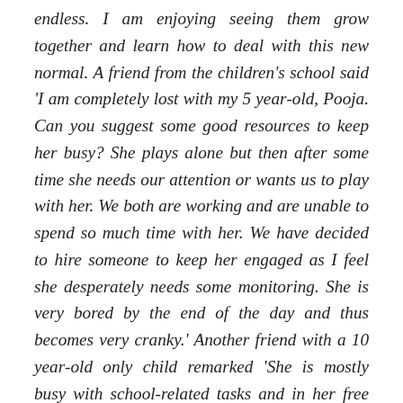endless. I am enjoying seeing them grow together and learn how to deal with this new normal. A friend from the children's school said 'I am completely lost with my 5 year-old, Pooja. Can you suggest some good resources to keep her busy? She plays alone but then after some time she needs our attention or wants us to play with her. We both are working and are unable to spend so much time with her. We have decided to hire someone to keep her engaged as I feel she desperately needs some monitoring. She is very bored by the end of the day and thus becomes very cranky.' Another friend with a 10 year-old only child remarked 'She is mostly busy with school-related tasks and in her free time she likes to do art and craft. Thanks to the option to work-from-home, my husband can spend time with her in the evening while I manage household chores. She sometimes does gets frustrated being